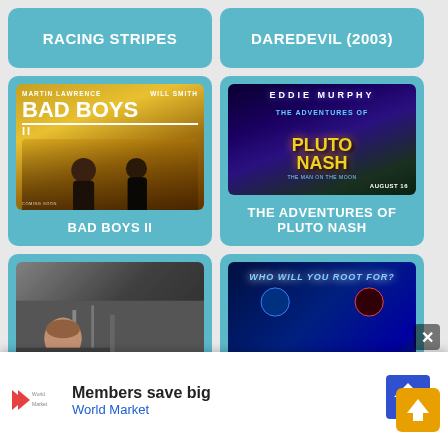RACING STRIPES
DAREDEVIL (2003)
[Figure (photo): Movie poster for Bad Boys II featuring Martin Lawrence and Will Smith]
BAD BOYS II
[Figure (photo): Movie poster for The Adventures of Pluto Nash featuring Eddie Murphy, August 16]
THE ADVENTURES OF PLUTO NASH
[Figure (photo): Partial movie poster (cropped) — appears to be a thriller/drama]
[Figure (photo): Partial poster with text WHO WILL YOU ROOT FOR?]
Members save big
World Market